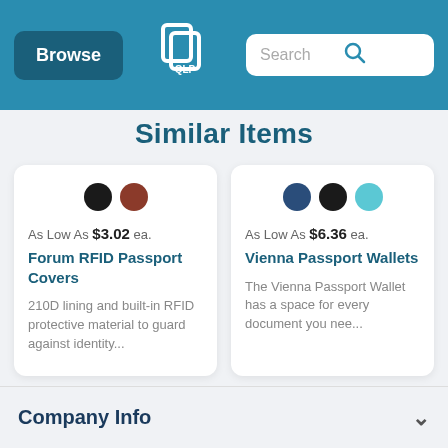[Figure (screenshot): Website header with Browse button, logo, and search bar on blue background]
Similar Items
[Figure (infographic): Product card: Forum RFID Passport Covers, color swatches black and brown, As Low As $3.02 ea., description: 210D lining and built-in RFID protective material to guard against identity...]
[Figure (infographic): Product card: Vienna Passport Wallets, color swatches navy, black, and teal, As Low As $6.36 ea., description: The Vienna Passport Wallet has a space for every document you nee...]
Company Info